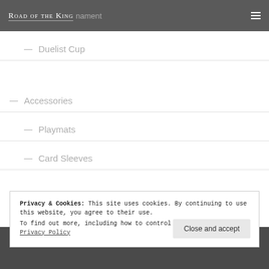Road of the King — Tournament
— Duelist Cup
— Accessories
— Playmats
— Card Sleeves
Privacy & Cookies: This site uses cookies. By continuing to use this website, you agree to their use.
To find out more, including how to control cookies, see here: Privacy Policy
Close and accept